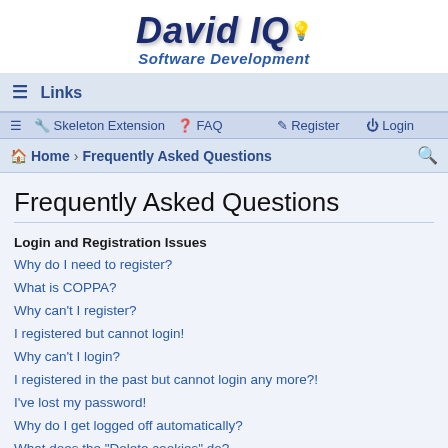[Figure (logo): David IQ Software Development logo with lightbulb icon and stylized text]
≡ Links
≡ 🔧 Skeleton Extension  ❓ FAQ   ✎ Register  ⏻ Login
🏠 Home › Frequently Asked Questions 🔍
Frequently Asked Questions
Login and Registration Issues
Why do I need to register?
What is COPPA?
Why can't I register?
I registered but cannot login!
Why can't I login?
I registered in the past but cannot login any more?!
I've lost my password!
Why do I get logged off automatically?
What does the "Delete cookies" do?
User Preferences and settings